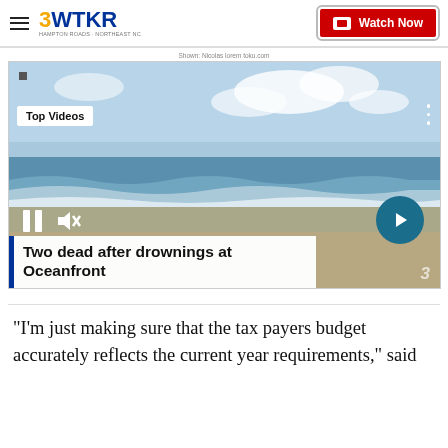3WTKR — Watch Now
Shown: Nicolas lorem toku.com
[Figure (screenshot): Video player showing beach/ocean scene with 'Top Videos' label, pause and mute controls, a next arrow button, and a video title overlay reading 'Two dead after drownings at Oceanfront']
"I'm just making sure that the tax payers budget accurately reflects the current year requirements," said